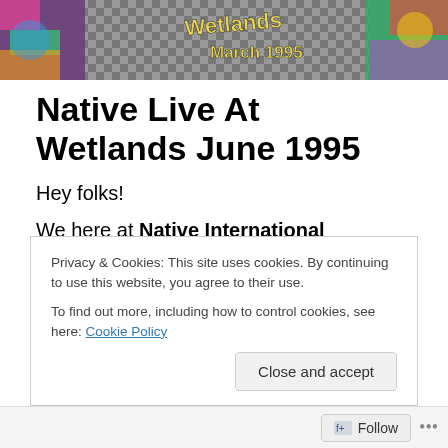[Figure (photo): Banner image with colorful psychedelic artwork on sides and a checkered pattern center with text 'Wetlands March 1995' in stylized yellow font]
Native Live At Wetlands June 1995
Hey folks!
We here at Native International Headquarters have been pretty excited ever since I, Dave Thomas, the drummer, made a big discovery deep in our labrynthian vaults.
Privacy & Cookies: This site uses cookies. By continuing to use this website, you agree to their use.
To find out more, including how to control cookies, see here: Cookie Policy
Follow ...